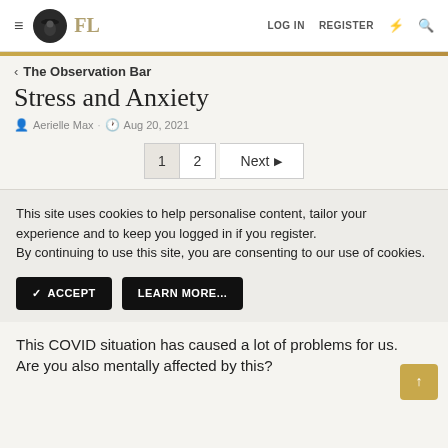FL — LOG IN  REGISTER
< The Observation Bar
Stress and Anxiety
Aerielle Max · Aug 20, 2021
1  2  Next ▶
This site uses cookies to help personalise content, tailor your experience and to keep you logged in if you register. By continuing to use this site, you are consenting to our use of cookies.
✓ ACCEPT   LEARN MORE...
This COVID situation has caused a lot of problems for us. Are you also mentally affected by this?